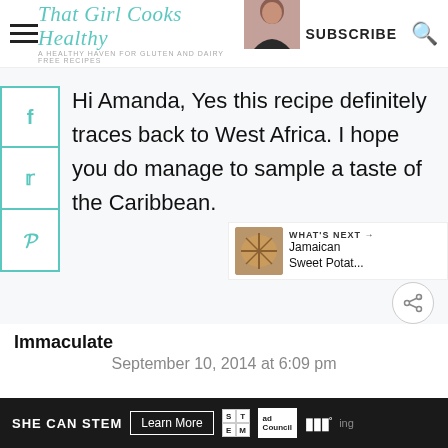That Girl Cooks Healthy — A healthy haven for gluten and dairy free recipes | SUBSCRIBE
Hi Amanda, Yes this recipe definitely traces back to West Africa. I hope you do manage to sample a taste of the Caribbean.
REPLY
WHAT'S NEXT → Jamaican Sweet Potat...
Immaculate
September 10, 2014 at 6:09 pm
SHE CAN STEM | Learn More | STEM | ad Council | ing°